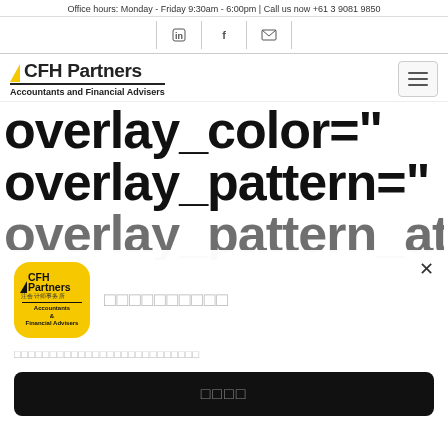Office hours: Monday - Friday 9:30am - 6:00pm | Call us now +61 3 9081 9850
[Figure (logo): Social media icons: LinkedIn, Facebook, Email]
[Figure (logo): CFH Partners - Accountants and Financial Advisers logo with hamburger menu button]
overlay_color="
overlay_pattern="
overlay_pattern_att...
[Figure (logo): CFH Partners mobile app icon - yellow rounded square with logo]
□□□□□□□□□□
□□□□□□□□□□□□□□□□□□□□□□□□□□
□□□□